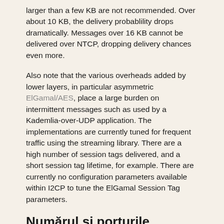larger than a few KB are not recommended. Over about 10 KB, the delivery probablility drops dramatically. Messages over 16 KB cannot be delivered over NTCP, dropping delivery chances even more.
Also note that the various overheads added by lower layers, in particular asymmetric ElGamal/AES, place a large burden on intermittent messages such as used by a Kademlia-over-UDP application. The implementations are currently tuned for frequent traffic using the streaming library. There are a high number of session tags delivered, and a short session tag lifetime, for example. There are currently no configuration parameters available within I2CP to tune the ElGamal Session Tag parameters.
Numărul și porturile protocolului I2CP